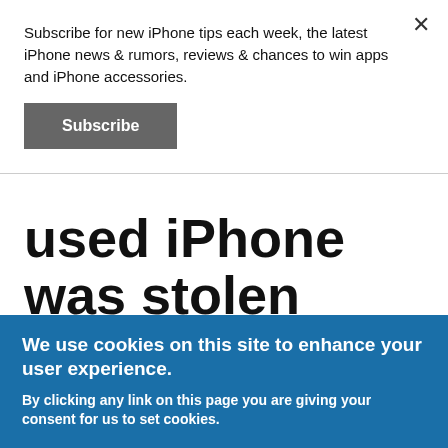Subscribe for new iPhone tips each week, the latest iPhone news & rumors, reviews & chances to win apps and iPhone accessories.
Subscribe
used iPhone was stolen
Submitted by Fred Straker on June 2, 2016 - 6:36am
We use cookies on this site to enhance your user experience.
By clicking any link on this page you are giving your consent for us to set cookies.